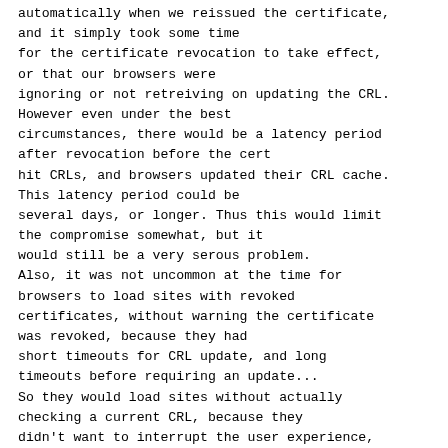automatically when we reissued the certificate, and it simply took some time for the certificate revocation to take effect, or that our browsers were ignoring or not retreiving on updating the CRL. However even under the best circumstances, there would be a latency period after revocation before the cert hit CRLs, and browsers updated their CRL cache. This latency period could be several days, or longer. Thus this would limit the compromise somewhat, but it would still be a very serous problem. Also, it was not uncommon at the time for browsers to load sites with revoked certificates, without warning the certificate was revoked, because they had short timeouts for CRL update, and long timeouts before requiring an update... So they would load sites without actually checking a current CRL, because they didn't want to interrupt the user experience, and get complaints or excess